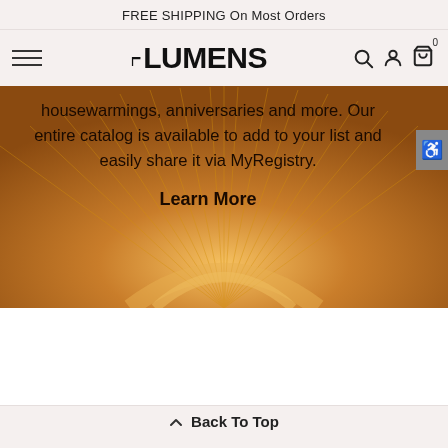FREE SHIPPING On Most Orders
[Figure (logo): Lumens logo with hamburger menu, search, account, and cart icons]
[Figure (photo): Golden radiating light/lamp abstract background with text overlay: 'housewarmings, anniversaries and more. Our entire catalog is available to add to your list and easily share it via MyRegistry.' and 'Learn More' link]
Back To Top